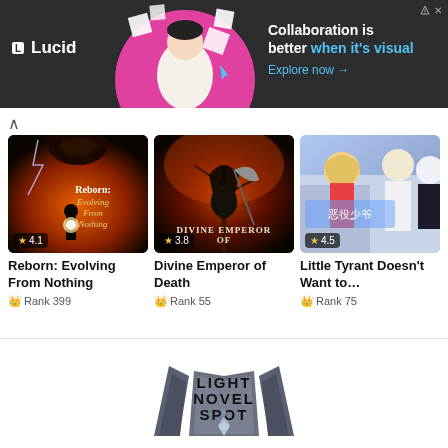[Figure (screenshot): Advertisement banner for Lucid with dark background, showing 'Collaboration is better when it's visual' text and 'Explore now' link]
[Figure (illustration): Book cover: Reborn: Evolving From Nothing - dark fantasy with creature and warrior, rating 4.1]
[Figure (illustration): Book cover: Divine Emperor of Death - dark fantasy grim reaper figure, rating 3.8]
[Figure (illustration): Book cover: Little Tyrant Doesn't Want to... - anime style, rating 4.5]
Reborn: Evolving From Nothing
Rank 399
Divine Emperor of Death
Rank 55
Little Tyrant Doesn't Want to…
Rank 75
[Figure (logo): Light Novel Spot logo - stylized book pages with text]